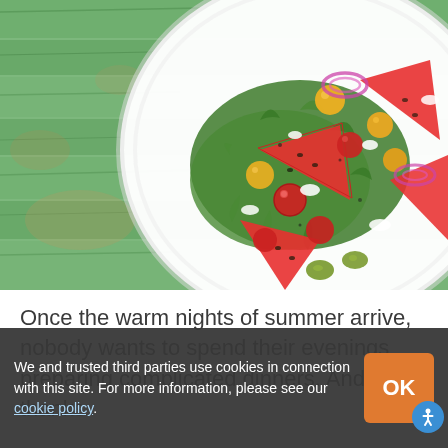[Figure (photo): A white plate with a colorful summer salad consisting of watermelon triangles, cherry tomatoes, yellow tomatoes, arugula, red onion rings, white cheese crumbles, and olives, placed on a rustic green painted wooden surface.]
Once the warm nights of summer arrive, nobody wants to spend their evenings preparing complicated dinners. And thanks
We and trusted third parties use cookies in connection with this site. For more information, please see our cookie policy.